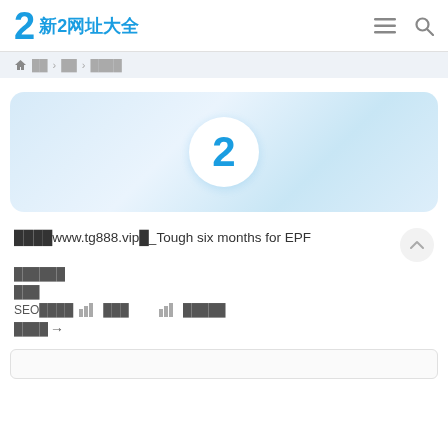新2网址大全
首页 > 娱乐 > 网址大全
[Figure (logo): Large blue numeral 2 on white circular background, centered in a light blue gradient banner]
████www.tg888.vip█_Tough six months for EPF
██████
███
SEO████ ███ ██████
█████→
[Figure (screenshot): Partial view of a white/light grey box at the bottom of the page]